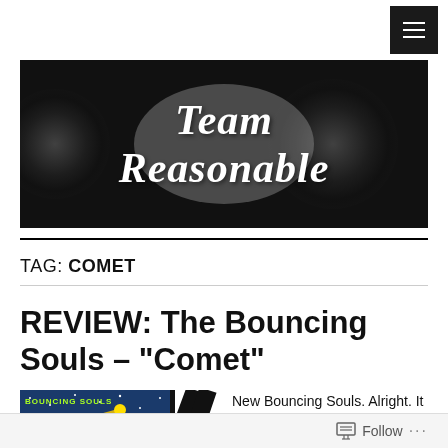[Figure (logo): Team Reasonable blog banner: black background with vinyl records and white italic cursive text reading 'Team Reasonable']
TAG: COMET
REVIEW: The Bouncing Souls – "Comet"
[Figure (illustration): Album art for Bouncing Souls 'Comet' showing cartoon comet in night sky, with band logo text]
New Bouncing Souls. Alright. It is a bit hard